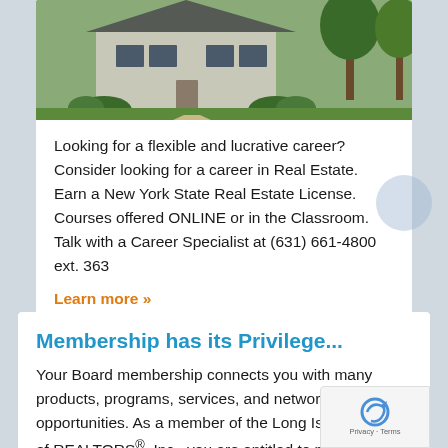[Figure (photo): Photo of a house with green lawn and landscaping]
Looking for a flexible and lucrative career? Consider looking for a career in Real Estate. Earn a New York State Real Estate License. Courses offered ONLINE or in the Classroom. Talk with a Career Specialist at (631) 661-4800 ext. 363
Learn more »
Membership has its Privilege...
Your Board membership connects you with many products, programs, services, and networking opportunities. As a member of the Long Island Board of REALTORS®, Inc., you are entitled to many benefits. Visit LIRealtor.com and click on the Member